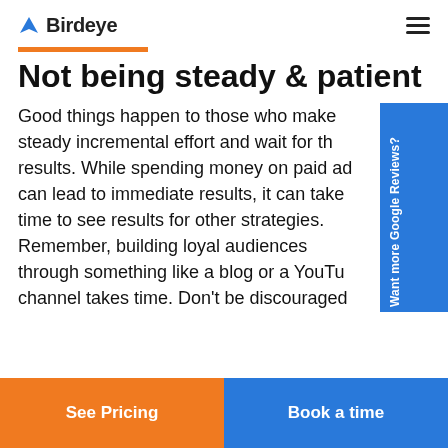Birdeye
Not being steady & patient
Good things happen to those who make steady incremental effort and wait for the results. While spending money on paid ads can lead to immediate results, it can take time to see results for other strategies. Remember, building loyal audiences through something like a blog or a YouTube channel takes time. Don't be discouraged
Want more Google Reviews?
See Pricing
Book a time